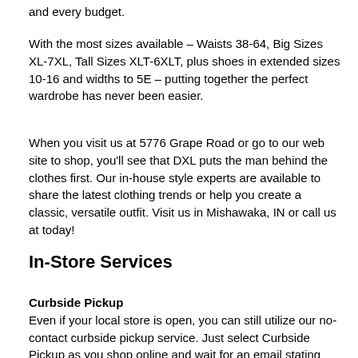and every budget.
With the most sizes available – Waists 38-64, Big Sizes XL-7XL, Tall Sizes XLT-6XLT, plus shoes in extended sizes 10-16 and widths to 5E – putting together the perfect wardrobe has never been easier.
When you visit us at 5776 Grape Road or go to our web site to shop, you'll see that DXL puts the man behind the clothes first. Our in-house style experts are available to share the latest clothing trends or help you create a classic, versatile outfit. Visit us in Mishawaka, IN or call us at today!
In-Store Services
Curbside Pickup
Even if your local store is open, you can still utilize our no-contact curbside pickup service. Just select Curbside Pickup as you shop online and wait for an email stating that your order is ready for